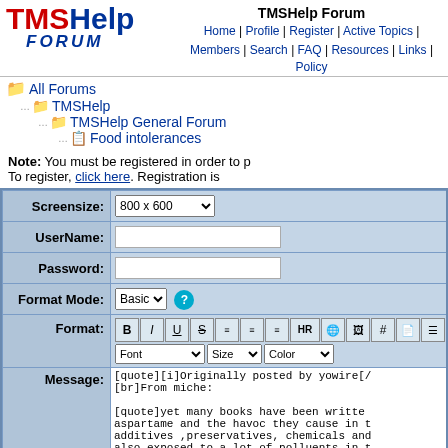[Figure (logo): TMSHelp Forum logo with TMS in red/blue and FORUM in blue italic]
TMSHelp Forum
Home | Profile | Register | Active Topics | Members | Search | FAQ | Resources | Links | Policy
All Forums
TMSHelp
TMSHelp General Forum
Food intolerances
Note: You must be registered in order to post. To register, click here. Registration is
| Screensize: | 800 x 600 |
| --- | --- |
| UserName: |  |
| Password: |  |
| Format Mode: | Basic | ? |
| Format: | B I U S align align align HR globe img # doc list Font Size Color |
| Message: | [quote][i]Originally posted by yowire[/...]
[br]From miche:

[quote]yet many books have been written...
aspartame and the havoc they cause in t...
additives ,preservatives, chemicals and...
also exposed to a lot of polluents in t... |